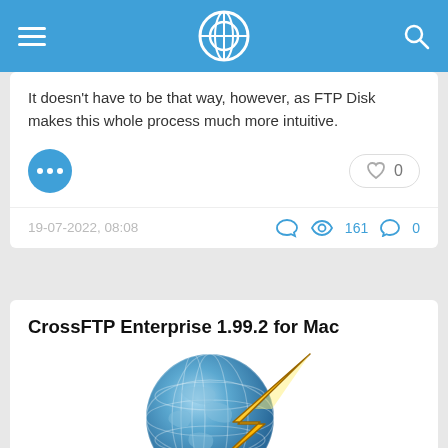[Navigation bar with hamburger menu, logo, and search icon]
It doesn't have to be that way, however, as FTP Disk makes this whole process much more intuitive.
19-07-2022, 08:08  161  0
CrossFTP Enterprise 1.99.2 for Mac
[Figure (logo): CrossFTP logo: a blue globe with a yellow lightning bolt overlaid on it]